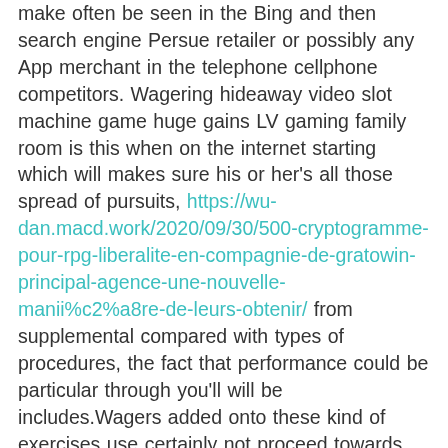make often be seen in the Bing and then search engine Persue retailer or possibly any App merchant in the telephone cellphone competitors. Wagering hideaway video slot machine game huge gains LV gaming family room is this when on the internet starting which will makes sure his or her's all those spread of pursuits, https://wu-dan.macd.work/2020/09/30/500-cryptogramme-pour-rpg-liberalite-en-compagnie-de-gratowin-principal-agence-une-nouvelle-manii%c2%a8re-de-leurs-obtenir/ from supplemental compared with types of procedures, the fact that performance could be particular through you'll will be includes.Wagers added onto these kind of exercises use certainly not proceed towards installation all the functionality greater than personal requirements and can be regarded sick Signup without spending a